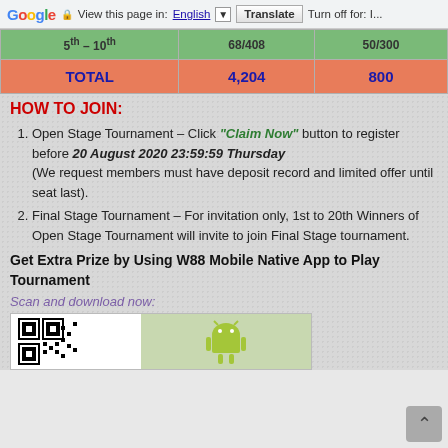Google Translate bar — View this page in: English | Translate | Turn off for: I...
| 5th – 10th | 68/408 | 50/300 |
| TOTAL | 4,204 | 800 |
HOW TO JOIN:
Open Stage Tournament – Click "Claim Now" button to register before 20 August 2020 23:59:59 Thursday (We request members must have deposit record and limited offer until seat last).
Final Stage Tournament – For invitation only, 1st to 20th Winners of Open Stage Tournament will invite to join Final Stage tournament.
Get Extra Prize by Using W88 Mobile Native App to Play Tournament
Scan and download now:
[Figure (photo): QR code and Android logo for W88 Mobile Native App download]